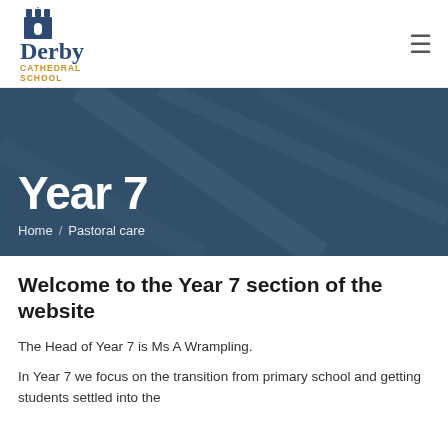[Figure (logo): Derby Cathedral School logo — castle/cathedral tower icon above 'Derby' in large dark blue serif text, with 'CATHEDRAL SCHOOL' in smaller gold/amber caps below]
Derby Cathedral School — navigation header with hamburger menu icon
[Figure (photo): Dark blue tinted hero banner with diagonal light streak lines (abstract/background photo of hands writing), overlaid with 'Year 7' as large white bold heading and breadcrumb 'Home / Pastoral care']
Year 7
Home / Pastoral care
Welcome to the Year 7 section of the website
The Head of Year 7 is Ms A Wrampling.
In Year 7 we focus on the transition from primary school and getting students settled into the